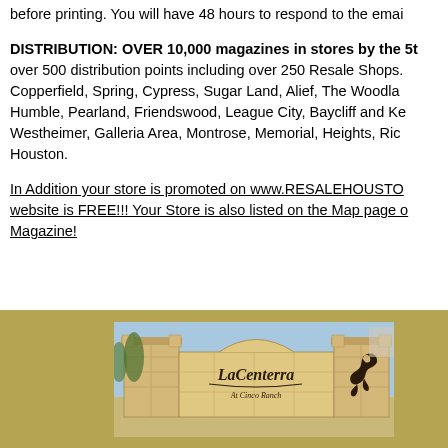before printing. You will have 48 hours to respond to the email.
DISTRIBUTION: OVER 10,000 magazines in stores by the 5th, over 500 distribution points including over 250 Resale Shops. Copperfield, Spring, Cypress, Sugar Land, Alief, The Woodlands, Humble, Pearland, Friendswood, League City, Baycliff and Kemah, Westheimer, Galleria Area, Montrose, Memorial, Heights, Rice area Houston.
In Addition your store is promoted on www.RESALEHOUSTON.com website is FREE!!! Your Store is also listed on the Map page of the Magazine!
[Figure (photo): Photo of the LaCenterra At Cinco Ranch entrance sign — a stone monument sign with 'LaCenterra At Cinco Ranch' text and a horse silhouette logo, set against trees and a building.]